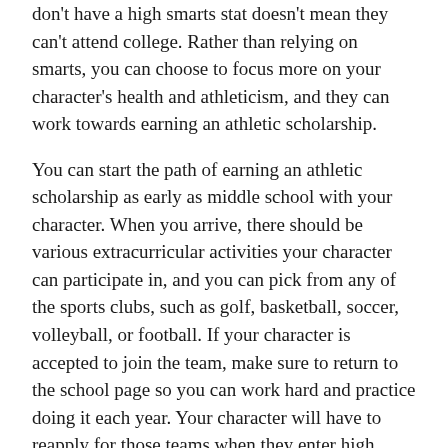don't have a high smarts stat doesn't mean they can't attend college. Rather than relying on smarts, you can choose to focus more on your character's health and athleticism, and they can work towards earning an athletic scholarship.
You can start the path of earning an athletic scholarship as early as middle school with your character. When you arrive, there should be various extracurricular activities your character can participate in, and you can pick from any of the sports clubs, such as golf, basketball, soccer, volleyball, or football. If your character is accepted to join the team, make sure to return to the school page so you can work hard and practice doing it each year. Your character will have to reapply for those teams when they enter high school.